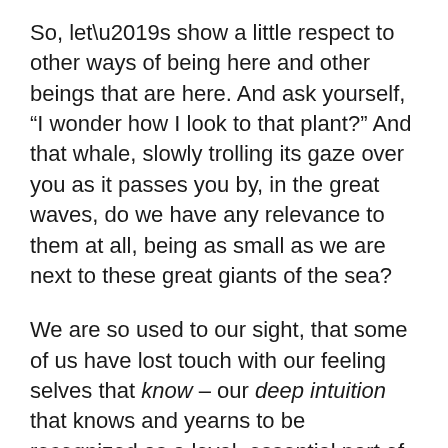So, let’s show a little respect to other ways of being here and other beings that are here. And ask yourself, “I wonder how I look to that plant?” And that whale, slowly trolling its gaze over you as it passes you by, in the great waves, do we have any relevance to them at all, being as small as we are next to these great giants of the sea?
We are so used to our sight, that some of us have lost touch with our feeling selves that know – our deep intuition that knows and yearns to be recognized as a loyal, essential part of who I am, who you are, essential because it leads us to good health and…